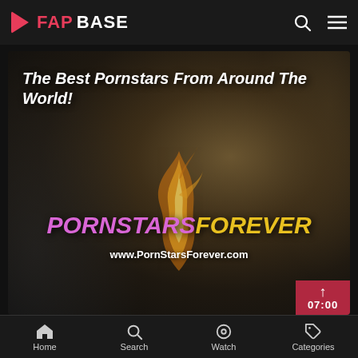FAPBASE
[Figure (screenshot): Video thumbnail showing 'The Best Pornstars From Around The World!' with PORNSTARSFOREVER brand text and www.PornStarsForever.com URL, dark smoky background with golden flame decoration, duration badge showing 07:00]
Home  Search  Watch  Categories